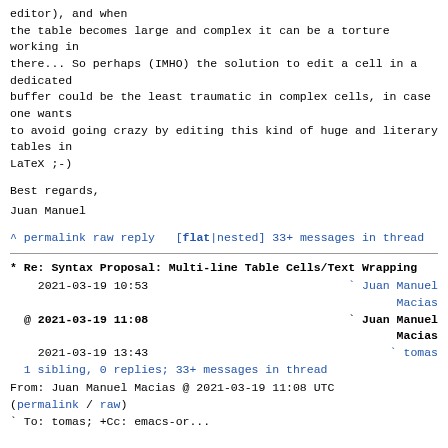editor), and when
the table becomes large and complex it can be a torture working in
there... So perhaps (IMHO) the solution to edit a cell in a dedicated
buffer could be the least traumatic in complex cells, in case one wants
to avoid going crazy by editing this kind of huge and literary tables in
LaTeX ;-)
Best regards,
Juan Manuel
^ permalink raw reply  [flat|nested] 33+ messages in thread
* Re: Syntax Proposal: Multi-line Table Cells/Text Wrapping
| timestamp | author |
| --- | --- |
| 2021-03-19 10:53 | Juan Manuel Macias |
| @ 2021-03-19 11:08 | Juan Manuel Macias |
| 2021-03-19 13:43 | tomas |
1 sibling, 0 replies; 33+ messages in thread
From: Juan Manuel Macias @ 2021-03-19 11:08 UTC
(permalink / raw)
` To: tomas; +Cc: emacs-or...